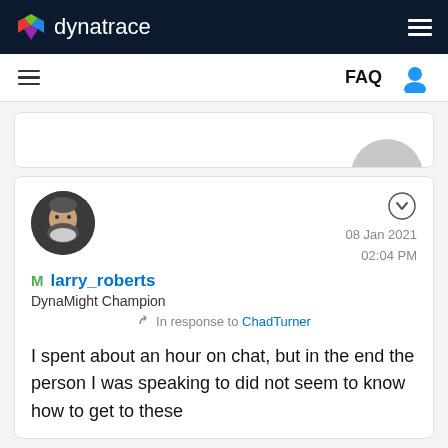dynatrace
FAQ
larry_roberts
DynaMight Champion
In response to ChadTurner
08 Jan 2021 02:04 PM
I spent about an hour on chat, but in the end the person I was speaking to did not seem to know how to get to these